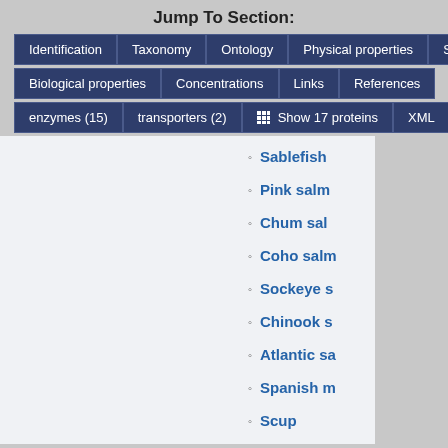Jump To Section:
Identification
Taxonomy
Ontology
Physical properties
Spectra
Biological properties
Concentrations
Links
References
enzymes (15)
transporters (2)
Show 17 proteins
XML
Sablefish
Pink salm
Chum sal
Coho salm
Sockeye s
Chinook s
Atlantic sa
Spanish m
Scup
Sea trout
American
Shark
Sheefish